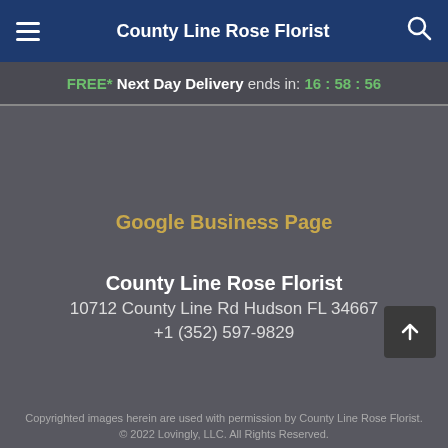County Line Rose Florist
FREE* Next Day Delivery ends in: 16:58:56
Google Business Page
County Line Rose Florist
10712 County Line Rd Hudson FL 34667
+1 (352) 597-9829
Copyrighted images herein are used with permission by County Line Rose Florist.
© 2022 Lovingly, LLC. All Rights Reserved.